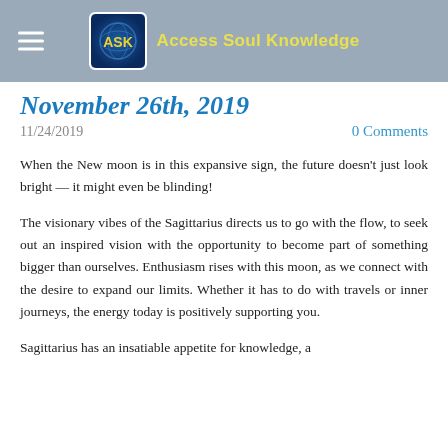Access Soul Knowledge
November 26th, 2019
11/24/2019   0 Comments
When the New moon is in this expansive sign, the future doesn't just look bright — it might even be blinding!
The visionary vibes of the Sagittarius directs us to go with the flow, to seek out an inspired vision with the opportunity to become part of something bigger than ourselves. Enthusiasm rises with this moon, as we connect with the desire to expand our limits. Whether it has to do with travels or inner journeys, the energy today is positively supporting you.
Sagittarius has an insatiable appetite for knowledge, a